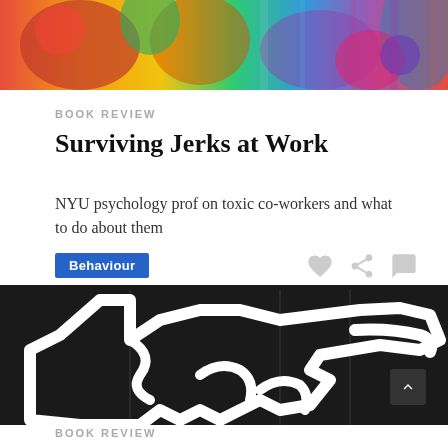[Figure (photo): Colorful graffiti/street art image with vivid reds, yellows, greens and blues at the top of the page]
BOOK REVIEW
Surviving Jerks at Work
NYU psychology prof on toxic co-workers and what to do about them
Behaviour
[Figure (photo): Dark/black background with white outlined hand/glove shape with curled fingers pointing, large decorative neon or tape art sign]
BOOK REVIEW